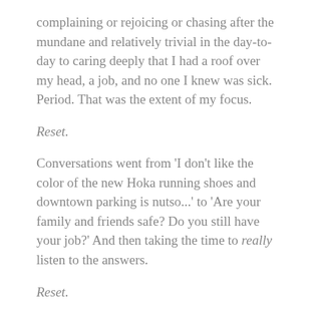complaining or rejoicing or chasing after the mundane and relatively trivial in the day-to-day to caring deeply that I had a roof over my head, a job, and no one I knew was sick. Period. That was the extent of my focus.
Reset.
Conversations went from 'I don't like the color of the new Hoka running shoes and downtown parking is nutso...' to 'Are your family and friends safe? Do you still have your job?' And then taking the time to really listen to the answers.
Reset.
A conversation in April with a good friend crystalized